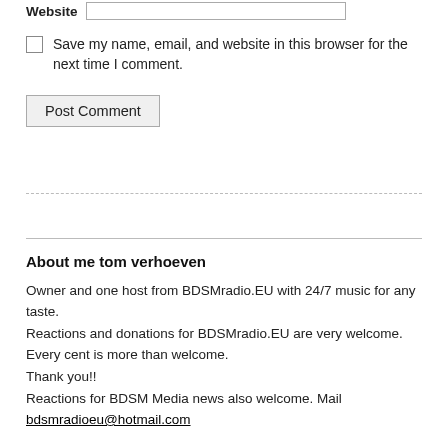Website [input field]
Save my name, email, and website in this browser for the next time I comment.
Post Comment
About me tom verhoeven
Owner and one host from BDSMradio.EU with 24/7 music for any taste.
Reactions and donations for BDSMradio.EU are very welcome.
Every cent is more than welcome.
Thank you!!
Reactions for BDSM Media news also welcome. Mail bdsmradioeu@hotmail.com
Categories